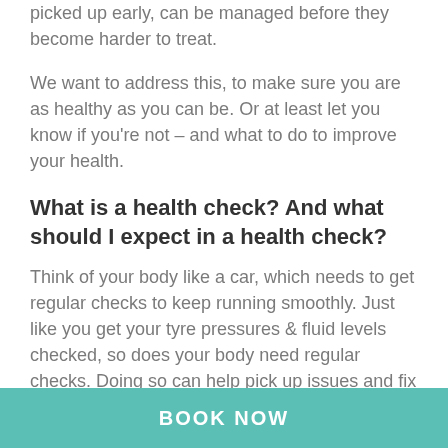picked up early, can be managed before they become harder to treat.
We want to address this, to make sure you are as healthy as you can be. Or at least let you know if you’re not – and what to do to improve your health.
What is a health check? And what should I expect in a health check?
Think of your body like a car, which needs to get regular checks to keep running smoothly. Just like you get your tyre pressures & fluid levels checked, so does your body need regular checks. Doing so can help pick up issues and fix them before you end up with a car that breaks down and could be very costly to
BOOK NOW